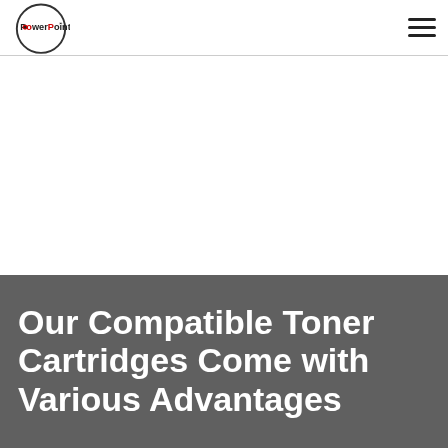PowerPoint [logo]
Our Compatible Toner Cartridges Come with Various Advantages